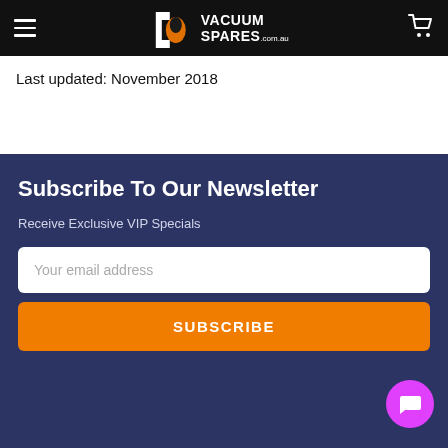Vacuum Spares .com.au
Last updated: November 2018
Subscribe To Our Newsletter
Receive Exclusive VIP Specials
Your email address
SUBSCRIBE